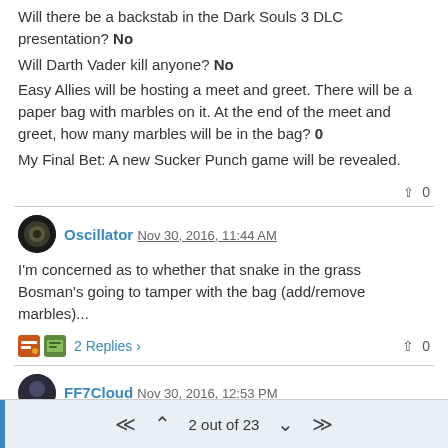Will there be a backstab in the Dark Souls 3 DLC presentation? No
Will Darth Vader kill anyone? No
Easy Allies will be hosting a meet and greet. There will be a paper bag with marbles on it. At the end of the meet and greet, how many marbles will be in the bag? 0
My Final Bet: A new Sucker Punch game will be revealed.
▲ 0
Oscillator Nov 30, 2016, 11:44 AM
I'm concerned as to whether that snake in the grass Bosman's going to tamper with the bag (add/remove marbles)...
2 Replies ›  ▲ 0
FF7Cloud Nov 30, 2016, 12:53 PM
Will Knack speak? no
Will Tetsuya Nomura reveal himself? no someone from square will
2 out of 23